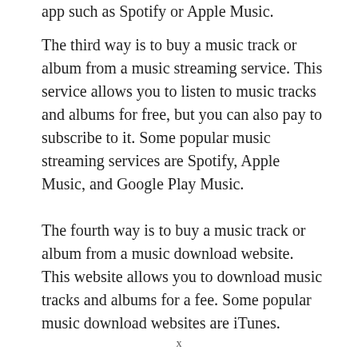app such as Spotify or Apple Music.
The third way is to buy a music track or album from a music streaming service. This service allows you to listen to music tracks and albums for free, but you can also pay to subscribe to it. Some popular music streaming services are Spotify, Apple Music, and Google Play Music.
The fourth way is to buy a music track or album from a music download website. This website allows you to download music tracks and albums for a fee. Some popular music download websites are iTunes.
x